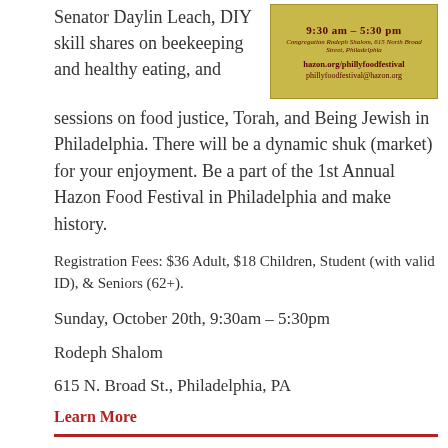Senator Daylin Leach, DIY skill shares on beekeeping and healthy eating, and
[Figure (other): Yellow/gold festival flyer image showing '9:30 am - 5:30 pm', 'Congregation Rodeph Shalom, 615 North Broad Street, Philadelphia', 'hazon.org/phillyfoodfestival', 'phillyfoodfestival@hazon.org']
sessions on food justice, Torah, and Being Jewish in Philadelphia. There will be a dynamic shuk (market) for your enjoyment. Be a part of the 1st Annual Hazon Food Festival in Philadelphia and make history.
Registration Fees: $36 Adult, $18 Children, Student (with valid ID), & Seniors (62+).
Sunday, October 20th, 9:30am – 5:30pm
Rodeph Shalom
615 N. Broad St., Philadelphia, PA
Learn More
From Our Friends